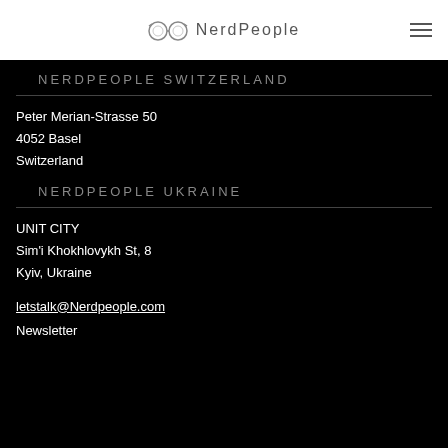NerdPeople
NERDPEOPLE SWITZERLAND
Peter Merian-Strasse 50
4052 Basel
Switzerland
NERDPEOPLE UKRAINE
UNIT CITY
Sim'i Khokhlovykh St, 8
Kyiv, Ukraine
letstalk@Nerdpeople.com
Newsletter